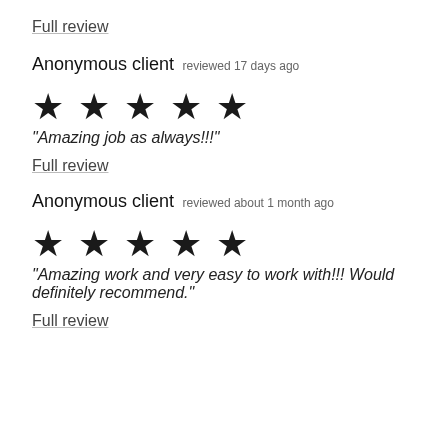Full review
Anonymous client reviewed 17 days ago
[Figure (other): Five black star rating icons]
"Amazing job as always!!!"
Full review
Anonymous client reviewed about 1 month ago
[Figure (other): Five black star rating icons]
"Amazing work and very easy to work with!!! Would definitely recommend."
Full review